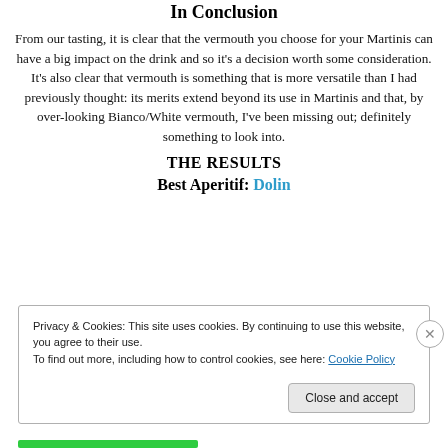In Conclusion
From our tasting, it is clear that the vermouth you choose for your Martinis can have a big impact on the drink and so it's a decision worth some consideration. It's also clear that vermouth is something that is more versatile than I had previously thought: its merits extend beyond its use in Martinis and that, by over-looking Bianco/White vermouth, I've been missing out; definitely something to look into.
THE RESULTS
Best Aperitif: Dolin
Privacy & Cookies: This site uses cookies. By continuing to use this website, you agree to their use. To find out more, including how to control cookies, see here: Cookie Policy
Close and accept